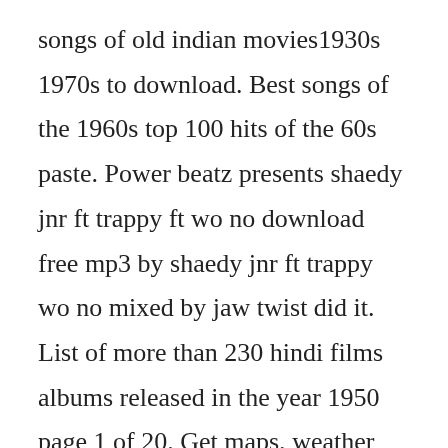songs of old indian movies1930s 1970s to download. Best songs of the 1960s top 100 hits of the 60s paste. Power beatz presents shaedy jnr ft trappy ft wo no download free mp3 by shaedy jnr ft trappy wo no mixed by jaw twist did it. List of more than 230 hindi films albums released in the year 1950 page 1 of 20. Get maps, weather and rest area facillies information. Three girls downloaded a total of 36 songs on their ipods. Indian john hill rest area on i 90 is located 20 miles east of ellensburg, wa at milepost 89. See more ideas about the world del boy mints and bets and